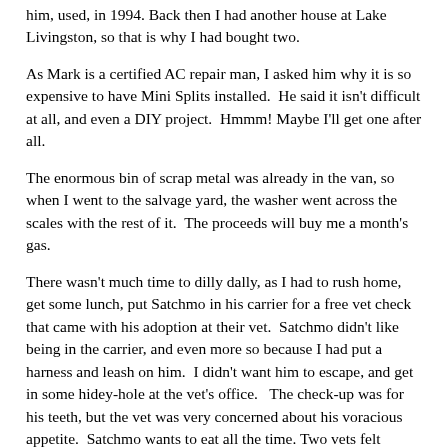him, used, in 1994. Back then I had another house at Lake Livingston, so that is why I had bought two.
As Mark is a certified AC repair man, I asked him why it is so expensive to have Mini Splits installed.  He said it isn't difficult at all, and even a DIY project.  Hmmm! Maybe I'll get one after all.
The enormous bin of scrap metal was already in the van, so when I went to the salvage yard, the washer went across the scales with the rest of it.  The proceeds will buy me a month's gas.
There wasn't much time to dilly dally, as I had to rush home, get some lunch, put Satchmo in his carrier for a free vet check that came with his adoption at their vet.  Satchmo didn't like being in the carrier, and even more so because I had put a harness and leash on him.  I didn't want him to escape, and get in some hidey-hole at the vet's office.   The check-up was for his teeth, but the vet was very concerned about his voracious appetite.  Satchmo wants to eat all the time. Two vets felt around his throat and said that he needed to have a thyroid test, especially as his heart rate was up.  I